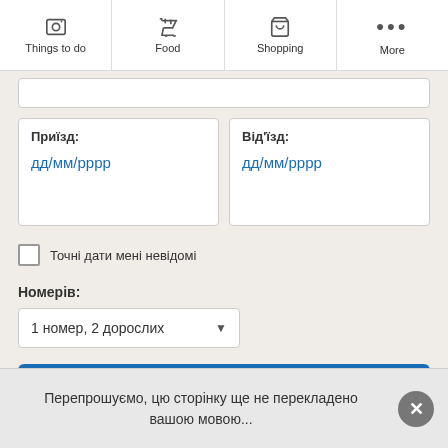Things to do | Food | Shopping | More
Приїзд: дд/мм/рррр
Від'їзд: дд/мм/рррр
Точні дати мені невідомі
Номерів:
1 номер, 2 дорослих
Шукати
Перепрошуємо, цю сторінку ще не перекладено вашою мовою...